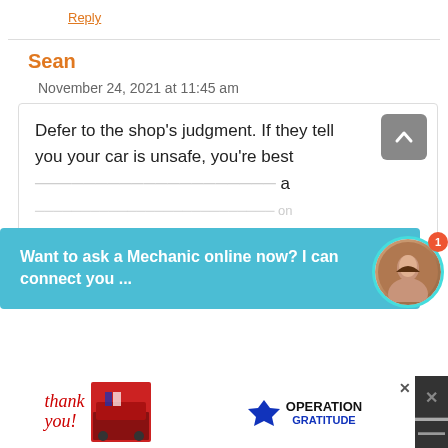Reply
Sean
November 24, 2021 at 11:45 am
Defer to the shop's judgment. If they tell you your car is unsafe, you're best ... [chat overlay] ... leak can probably wait if you're strapped for cash.
Want to ask a Mechanic online now? I can connect you ...
[Figure (photo): Ad banner with Operation Gratitude firefighter photo and thank you text]